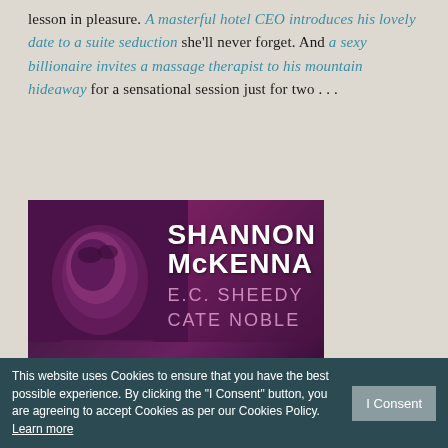lesson in pleasure. A masterful hotel CEO introduces his lovely date to a suite seduction she'll never forget. And a sexy billionaire invites a massage therapist to his mountain hideaway for a sensational session just for two . . .
[Figure (illustration): Book cover with purple-magenta tone showing a male face in shadow on the left, with authors' names on the right: SHANNON McKENNA, E.C. SHEEDY, CATE NOBLE in white and pink text on dark background]
This website uses Cookies to ensure that you have the best possible experience. By clicking the "I Consent" button, you are agreeing to accept Cookies as per our Cookies Policy. Learn more